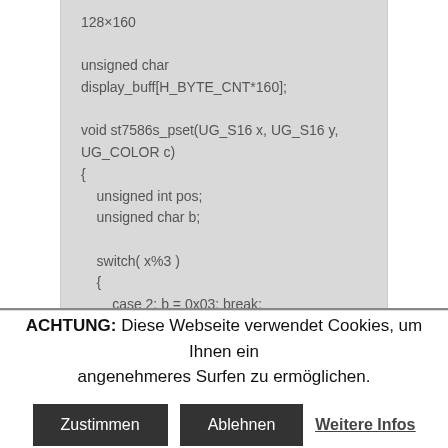128×160

unsigned char
display_buff[H_BYTE_CNT*160];

void st7586s_pset(UG_S16 x, UG_S16 y,
UG_COLOR c)
{
    unsigned int pos;
    unsigned char b;

    switch( x%3 )
    {
        case 2: b = 0x03; break;
        case 1: b = 0x81; break;
ACHTUNG: Diese Webseite verwendet Cookies, um Ihnen ein angenehmeres Surfen zu ermöglichen.
Zustimmen   Ablehnen   Weitere Infos